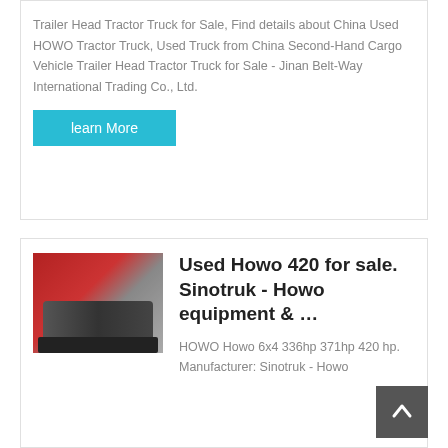Trailer Head Tractor Truck for Sale, Find details about China Used HOWO Tractor Truck, Used Truck from China Second-Hand Cargo Vehicle Trailer Head Tractor Truck for Sale - Jinan Belt-Way International Trading Co., Ltd.
learn More
[Figure (photo): Photo of a red HOWO tractor truck parked in front of a building]
Used Howo 420 for sale. Sinotruk - Howo equipment & …
HOWO Howo 6x4 336hp 371hp 420 hp. Manufacturer: Sinotruk - Howo